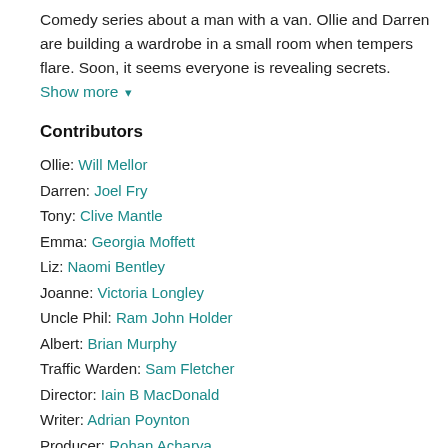Comedy series about a man with a van. Ollie and Darren are building a wardrobe in a small room when tempers flare. Soon, it seems everyone is revealing secrets. Show more ▾
Contributors
Ollie: Will Mellor
Darren: Joel Fry
Tony: Clive Mantle
Emma: Georgia Moffett
Liz: Naomi Bentley
Joanne: Victoria Longley
Uncle Phil: Ram John Holder
Albert: Brian Murphy
Traffic Warden: Sam Fletcher
Director: Iain B MacDonald
Writer: Adrian Poynton
Producer: Rohan Acharya